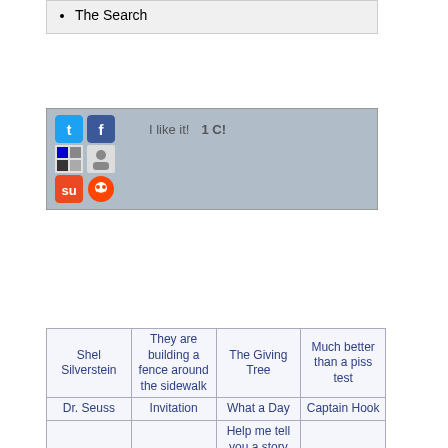The Search
[Figure (screenshot): Social sharing bar with Twitter, Facebook, StumbleUpon, Reddit icons, and 'I like it! 1 C!' text]
| Shel Silverstein | They are building a fence around the sidewalk | The Giving Tree | Much better than a piss test |
| Dr. Seuss | Invitation | What a Day | Captain Hook |
| Falling Up | The Search | Help me tell you a story about things and yourself, without pants | boa constrictor |